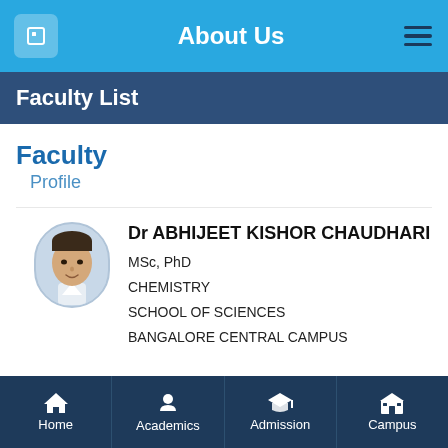About Us
Faculty List
Faculty
Profile
[Figure (photo): Circular profile photo of Dr Abhijeet Kishor Chaudhari]
Dr ABHIJEET KISHOR CHAUDHARI
MSc, PhD
CHEMISTRY
SCHOOL OF SCIENCES
BANGALORE CENTRAL CAMPUS
Home   Academics   Admission   Campus